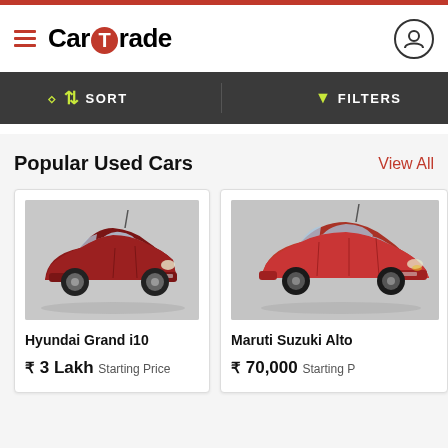CarTrade
SORT   FILTERS
Popular Used Cars
View All
[Figure (photo): Red Hyundai Grand i10 hatchback car on grey background]
Hyundai Grand i10
₹ 3 Lakh Starting Price
[Figure (photo): Red Maruti Suzuki Alto hatchback car, partially visible, on grey background]
Maruti Suzuki Alto
₹ 70,000 Starting Price